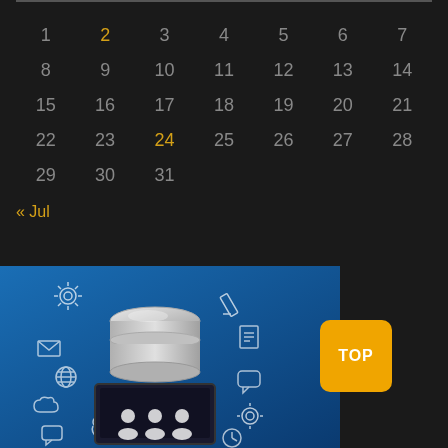| 1 | 2 | 3 | 4 | 5 | 6 | 7 |
| 8 | 9 | 10 | 11 | 12 | 13 | 14 |
| 15 | 16 | 17 | 18 | 19 | 20 | 21 |
| 22 | 23 | 24 | 25 | 26 | 27 | 28 |
| 29 | 30 | 31 |  |  |  |  |
« Jul
[Figure (illustration): Database server illustration on blue background with surrounding icons (gears, mail, chat, cloud, pencil, etc.) showing data/technology concept]